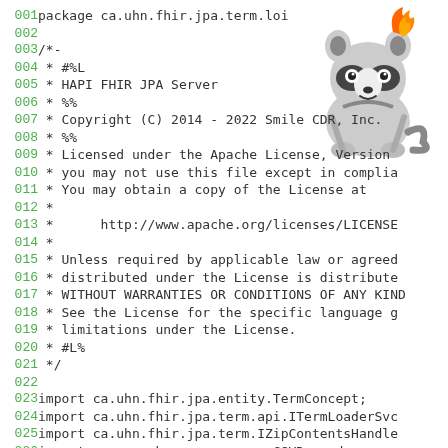[Figure (illustration): Cartoon raccoon mascot with a flame/fire on its head, black and white with gray tones, smiling, upper right corner]
001    package ca.uhn.fhir.jpa.term.loi
002
003    /*-
004     * #%L
005     * HAPI FHIR JPA Server
006     * %%
007     * Copyright (C) 2014 - 2022 Smile CDR, Inc.
008     * %%
009     * Licensed under the Apache License, Version
010     * you may not use this file except in complia
011     * You may obtain a copy of the License at
012     *
013     *      http://www.apache.org/licenses/LICENSE
014     *
015     * Unless required by applicable law or agreed
016     * distributed under the License is distribute
017     * WITHOUT WARRANTIES OR CONDITIONS OF ANY KIND
018     * See the License for the specific language g
019     * limitations under the License.
020     * #L%
021     */
022
023    import ca.uhn.fhir.jpa.entity.TermConcept;
024    import ca.uhn.fhir.jpa.term.api.ITermLoaderSvc
025    import ca.uhn.fhir.jpa.term.IZipContentsHandle
026    import org.apache.commons.csv.CSVRecord;
027    import org.hl7.fhir.r4.model.ConceptMap;